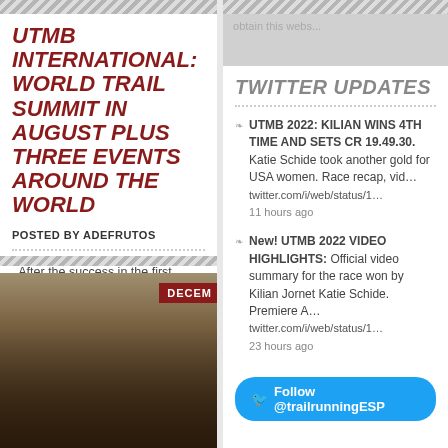UTMB INTERNATIONAL: WORLD TRAIL SUMMIT IN AUGUST PLUS THREE EVENTS AROUND THE WORLD
POSTED BY ADEFRUTOS
. After the success in the first editions of GaoligongByUTMB and OmanByUMTB hold in 201 UTMB international continues
[Figure (photo): Runners crossing finish line at a trail running event, with DECEMBER badge overlay]
TWITTER UPDATES
UTMB 2022: KILIAN WINS 4TH TIME AND SETS CR 19.49.30. Katie Schide took another gold for USA women. Race recap, vid… twitter.com/i/web/status/1… 11 hours ago
New! UTMB 2022 VIDEO HIGHLIGHTS: Official video summary for the race won by Kilian Jornet Katie Schide. Premiere A… twitter.com/i/web/status/1… 23 hours ago
Follow @trailrunningESP